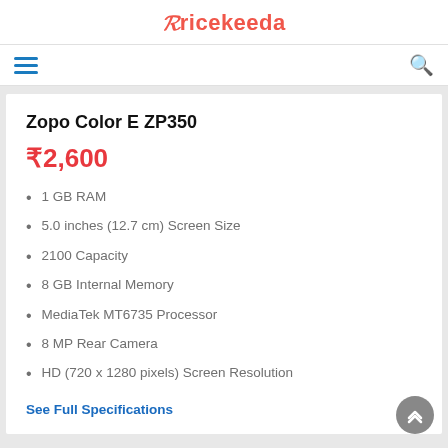Pricekeeda
Zopo Color E ZP350
₹2,600
1 GB RAM
5.0 inches (12.7 cm) Screen Size
2100 Capacity
8 GB Internal Memory
MediaTek MT6735 Processor
8 MP Rear Camera
HD (720 x 1280 pixels) Screen Resolution
See Full Specifications